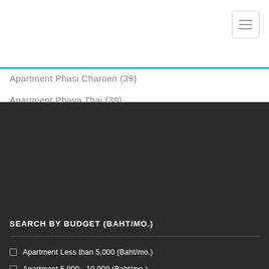Apartment Phasi Charoen (39)
Apartment Phaya Thai (39)
SEARCH BY BUDGET (BAHT/MO.)
Apartment Less than 5,000 (Baht/mo.)
Apartment 5,000 - 10,000 (Baht/mo.)
Apartment 10,000 - 25,000 (Baht/mo.)
Apartment 25,000 - 50,000 (Baht/mo.)
Apartment More than 50,000 (Baht/mo.)
SOCIAL MEDIA